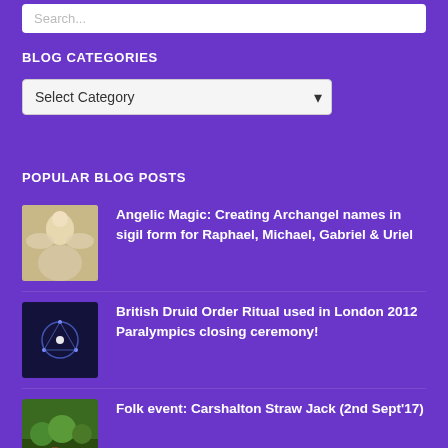Search...
BLOG CATEGORIES
Select Category
POPULAR BLOG POSTS
Angelic Magic: Creating Archangel names in sigil form for Raphael, Michael, Gabriel & Uriel
British Druid Order Ritual used in London 2012 Paralympics closing ceremony!
Folk event: Carshalton Straw Jack (2nd Sept'17)